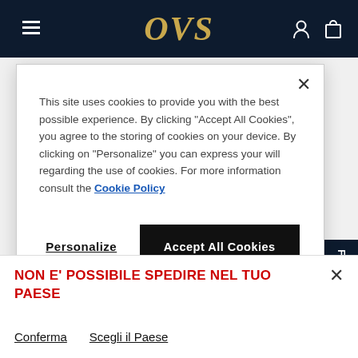[Figure (screenshot): OVS website header/navigation bar with dark navy background, hamburger menu icon on left, OVS logo in gold italic in center, user account and shopping bag icons on right]
This site uses cookies to provide you with the best possible experience. By clicking "Accept All Cookies", you agree to the storing of cookies on your device. By clicking on "Personalize" you can express your will regarding the use of cookies. For more information consult the Cookie Policy
Personalize
Accept All Cookies
ECO VALORE
NON E' POSSIBILE SPEDIRE NEL TUO PAESE
Conferma   Scegli il Paese